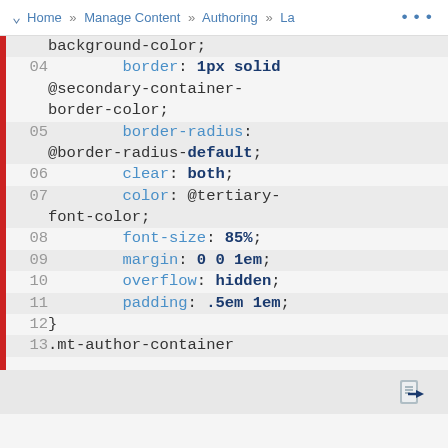Home » Manage Content » Authoring » La ...
[Figure (screenshot): Code editor screenshot showing CSS lines 03-13 with line numbers, property names in blue, values in bold dark blue, on alternating light grey background. A red vertical bar appears on the left edge.]